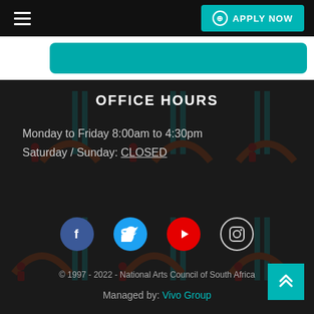≡  APPLY NOW
[Figure (screenshot): White card strip with teal button element]
OFFICE HOURS
Monday to Friday 8:00am to 4:30pm
Saturday / Sunday: CLOSED
[Figure (infographic): Social media icons: Facebook (blue circle), Twitter (light blue circle), YouTube (red circle), Instagram (outline circle)]
© 1997 - 2022 - National Arts Council of South Africa
Managed by: Vivo Group